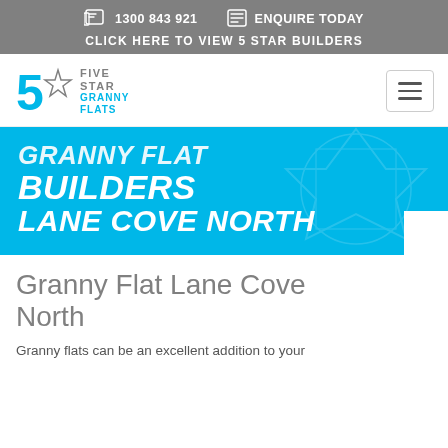1300 843 921   ENQUIRE TODAY   CLICK HERE TO VIEW 5 STAR BUILDERS
[Figure (logo): Five Star Granny Flats logo with a large blue '5' and star outline, beside text 'FIVE STAR GRANNY FLATS']
GRANNY FLAT BUILDERS LANE COVE NORTH
Granny Flat Lane Cove North
Granny flats can be an excellent addition to your